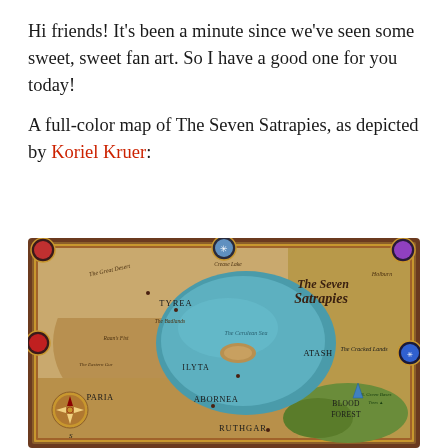Hi friends! It's been a minute since we've seen some sweet, sweet fan art. So I have a good one for you today!
A full-color map of The Seven Satrapies, as depicted by Koriel Kruer:
[Figure (map): A full-color fantasy map of The Seven Satrapies with an ornate border. Features a central teal/blue body of water surrounded by tan/brown landmasses. Labels include regions such as TYREA, ILYTA, ABORNEA, RUTHGAR, PARIA, ATASH, The Cracked Lands, Blood Forest, The Great Desert, The Badlands, Raan's Fist, The Eastern Gur, Green Bases. Decorative compass rose in bottom-left corner. Decorative gem medallions at corners and top center (red, blue, purple, teal). Title 'The Seven Satrapies' in elegant lettering in upper-right area.]